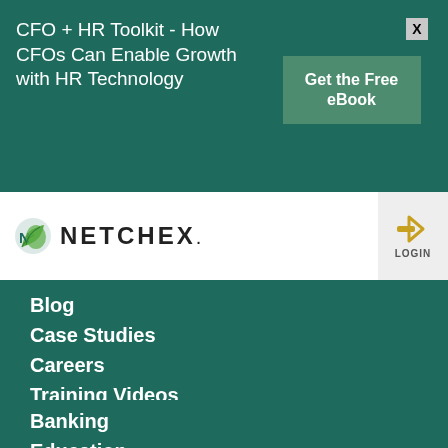CFO + HR Toolkit - How CFOs Can Enable Growth with HR Technology
Get the Free eBook
[Figure (logo): Netchex logo with green leaf icon and hamburger menu and login button]
Blog
Case Studies
Careers
Training Videos
Sponsorships
Industries
Banking
Education
Healthcare
Hotels